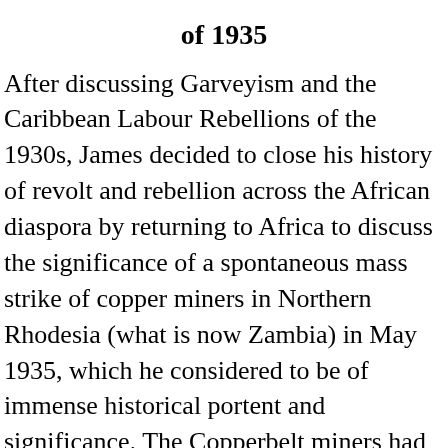of 1935
After discussing Garveyism and the Caribbean Labour Rebellions of the 1930s, James decided to close his history of revolt and rebellion across the African diaspora by returning to Africa to discuss the significance of a spontaneous mass strike of copper miners in Northern Rhodesia (what is now Zambia) in May 1935, which he considered to be of immense historical portent and significance. The Copperbelt miners had struck in protest at an increase in the poll tax at a time of rising economic insecurity, a strike that was bloodily